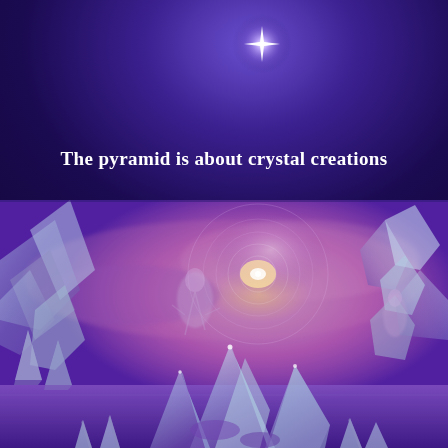The pyramid is about crystal creations
[Figure (illustration): Fantasy/spiritual illustration depicting crystal formations and ethereal human figures in a purple and gold cosmic landscape with swirling energy patterns in the sky]